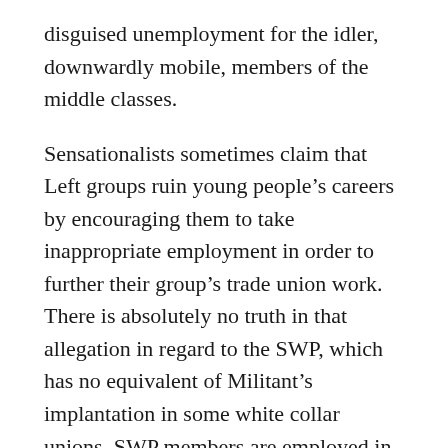disguised unemployment for the idler, downwardly mobile, members of the middle classes.
Sensationalists sometimes claim that Left groups ruin young people's careers by encouraging them to take inappropriate employment in order to further their group's trade union work. There is absolutely no truth in that allegation in regard to the SWP, which has no equivalent of Militant's implantation in some white collar unions. SWP members are employed in community work projects because they find the life congenial, not because Cliff plans to take over the MSC. The harder Left groups who constantly predict that the SWP is about to enter a crisis fail to recognise the sociological factors which give the group considerable stability. The SWP will survive, and, given a revival of student radicalism, might even grow. The group's own